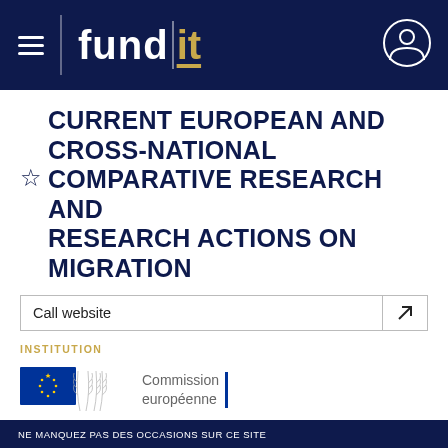[Figure (logo): Fund it logo on dark navy header bar with hamburger menu and user icon]
CURRENT EUROPEAN AND CROSS-NATIONAL COMPARATIVE RESEARCH AND RESEARCH ACTIONS ON MIGRATION
Call website ↗
INSTITUTION
[Figure (logo): European Commission logo - EU flag with stars and text Commission européenne]
DATE DE CANDIDATURE  02 fév 2017